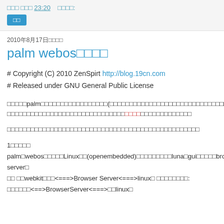□□□ □□□ 23:20  □□□□:
□□
2010年8月17日□□□□
palm webos□□□□
# Copyright (C) 2010 ZenSpirt http://blog.19cn.com
# Released under GNU General Public License
□□□□□palm□□□□□□□□□□□□□□□□□(□□□□□□□□□□□□□□□□□□□□□□□□□□□□□□□□□□□□□)□□□□□□□□□□□□□□□□□□□□□□□□□□□□□□□□□□□□□□□□□□□□□□□□□□
□□□□□□□□□□□□□□□□□□□□□□□□□□□□□□□□□□□□□□□□□□□□□□
1□□□□□
palm□webos□□□□□Linux□□(openembedded)□□□□□□□□□luna□gui□□□□□browser server□
□□ □□webkit□□□<===>Browser Server<===>linux□ □□□□□□□□:
□□□□□□<==>BrowserServer<===>□□linux□